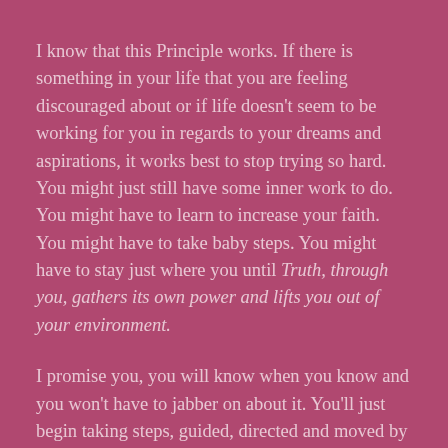I know that this Principle works. If there is something in your life that you are feeling discouraged about or if life doesn't seem to be working for you in regards to your dreams and aspirations, it works best to stop trying so hard. You might just still have some inner work to do. You might have to learn to increase your faith. You might have to take baby steps. You might have to stay just where you until Truth, through you, gathers its own power and lifts you out of your environment.
I promise you, you will know when you know and you won't have to jabber on about it. You'll just begin taking steps, guided, directed and moved by confidence, faith and trust and the Universe will move with you.